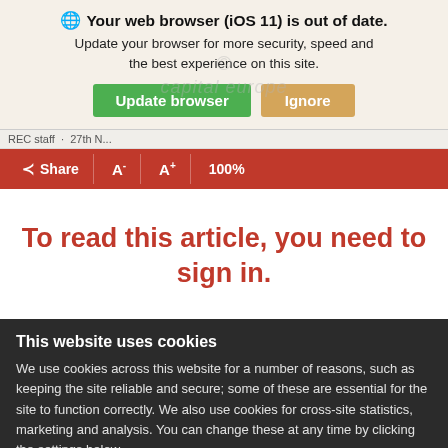Your web browser (iOS 11) is out of date. Update your browser for more security, speed and the best experience on this site.
Update browser | Ignore
REC staff · 27th N...
Share  A-  A+  100%
To read this article, you need to sign in.
This website uses cookies
We use cookies across this website for a number of reasons, such as keeping the site reliable and secure; some of these are essential for the site to function correctly. We also use cookies for cross-site statistics, marketing and analysis. You can change these at any time by clicking the settings below.